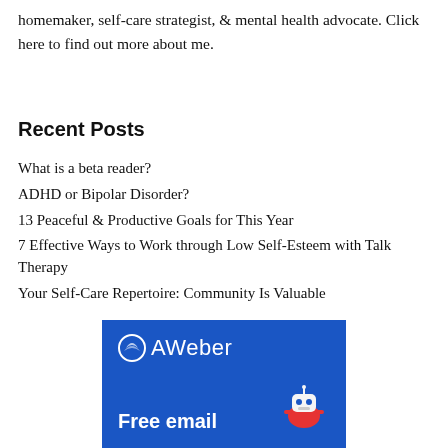homemaker, self-care strategist, & mental health advocate. Click here to find out more about me.
Recent Posts
What is a beta reader?
ADHD or Bipolar Disorder?
13 Peaceful & Productive Goals for This Year
7 Effective Ways to Work through Low Self-Esteem with Talk Therapy
Your Self-Care Repertoire: Community Is Valuable
[Figure (other): AWeber advertisement banner with blue background showing AWeber logo and 'Free email' text with a robot mascot icon]